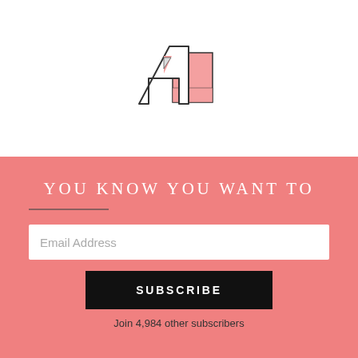[Figure (logo): Letter A and L logo: outlined block letter A with small triangle cutout, partially overlapping pink filled block letter L]
YOU KNOW YOU WANT TO
Email Address
SUBSCRIBE
Join 4,984 other subscribers